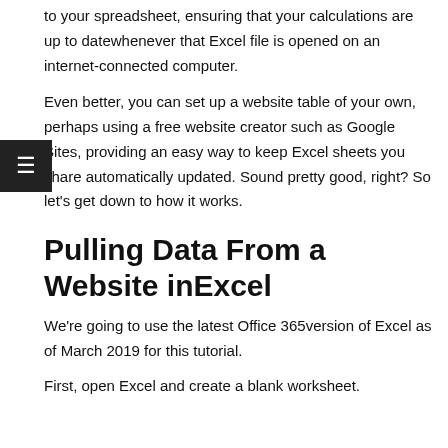to your spreadsheet, ensuring that your calculations are up to date whenever that Excel file is opened on an internet-connected computer.
Even better, you can set up a website table of your own, perhaps using a free website creator such as Google Sites, providing an easy way to keep Excel sheets you share automatically updated. Sound pretty good, right? So let's get down to how it works.
Pulling Data From a Website inExcel
We're going to use the latest Office 365version of Excel as of March 2019 for this tutorial.
First, open Excel and create a blank worksheet.